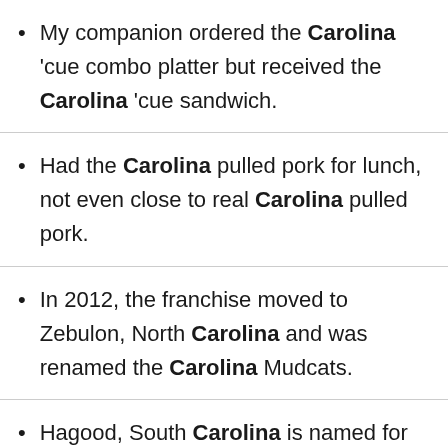My companion ordered the Carolina 'cue combo platter but received the Carolina 'cue sandwich.
Had the Carolina pulled pork for lunch, not even close to real Carolina pulled pork.
In 2012, the franchise moved to Zebulon, North Carolina and was renamed the Carolina Mudcats.
Hagood, South Carolina is named for